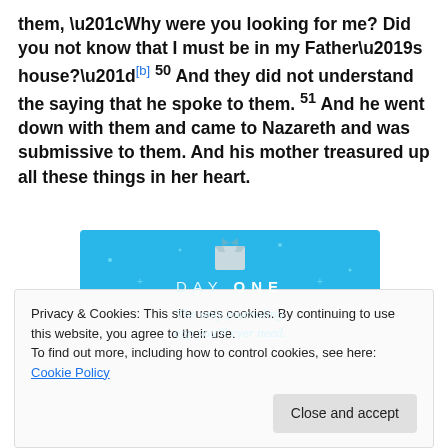them, “Why were you looking for me? Did you not know that I must be in my Father’s house?”[b] 50 And they did not understand the saying that he spoke to them. 51 And he went down with them and came to Nazareth and was submissive to them. And his mother treasured up all these things in her heart.
[Figure (illustration): Day One journaling app advertisement banner with light blue background, shirt icon, sparkle dots, and text 'DAY ONE - The only journaling app you’ll ever need.']
Privacy & Cookies: This site uses cookies. By continuing to use this website, you agree to their use.
To find out more, including how to control cookies, see here: Cookie Policy